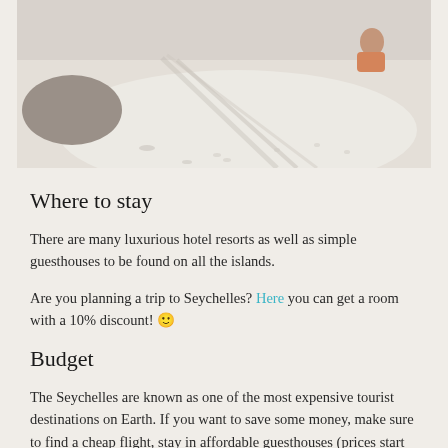[Figure (photo): Beach scene with a person sitting on white sand under palm tree shadow, bright sandy beach in the foreground]
Where to stay
There are many luxurious hotel resorts as well as simple guesthouses to be found on all the islands.
Are you planning a trip to Seychelles? Here you can get a room with a 10% discount! 🙂
Budget
The Seychelles are known as one of the most expensive tourist destinations on Earth. If you want to save some money, make sure to find a cheap flight, stay in affordable guesthouses (prices start at 60 USD/51 EUR a night), eat like the locals, and travel by bus (or